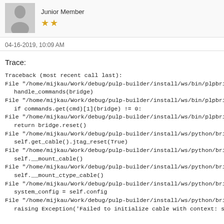[Figure (other): User avatar placeholder (grey silhouette) with username Junior Member and two gold star rating]
04-16-2019, 10:09 AM
Trace:
Traceback (most recent call last):
  File "/home/mijkau/Work/debug/pulp-builder/install/ws/bin/plpbridge"
    handle_commands(bridge)
  File "/home/mijkau/Work/debug/pulp-builder/install/ws/bin/plpbridge"
    if commands.get(cmd)[1](bridge) != 0:
  File "/home/mijkau/Work/debug/pulp-builder/install/ws/bin/plpbridge"
    return bridge.reset()
  File "/home/mijkau/Work/debug/pulp-builder/install/ws/python/bridge/
    self.get_cable().jtag_reset(True)
  File "/home/mijkau/Work/debug/pulp-builder/install/ws/python/bridge/
    self.__mount_cable()
  File "/home/mijkau/Work/debug/pulp-builder/install/ws/python/bridge/
    self.__mount_ctype_cable()
  File "/home/mijkau/Work/debug/pulp-builder/install/ws/python/bridge/
    system_config = self.config
  File "/home/mijkau/Work/debug/pulp-builder/install/ws/python/bridge/
    raising Exception('Failed to initialize cable with context: self.cable)